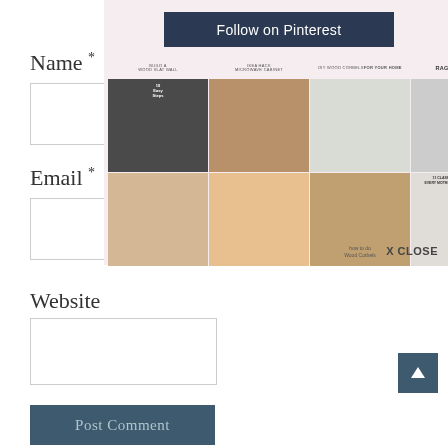[Figure (screenshot): Pinterest follow button and image grid popup overlay showing DIY home improvement projects including wood slat wall, microwave cabinet, DIY wood corbels, and rag flag]
Name *
Email *
Website
Post Comment